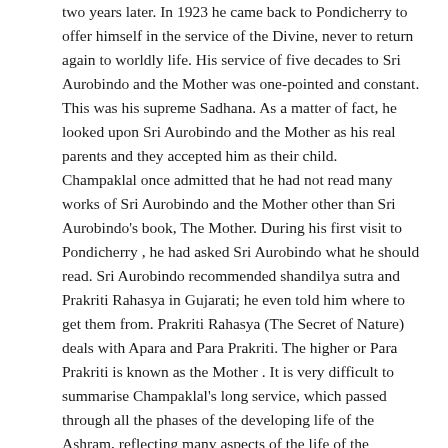two years later. In 1923 he came back to Pondicherry to offer himself in the service of the Divine, never to return again to worldly life. His service of five decades to Sri Aurobindo and the Mother was one-pointed and constant. This was his supreme Sadhana. As a matter of fact, he looked upon Sri Aurobindo and the Mother as his real parents and they accepted him as their child. Champaklal once admitted that he had not read many works of Sri Aurobindo and the Mother other than Sri Aurobindo's book, The Mother. During his first visit to Pondicherry , he had asked Sri Aurobindo what he should read. Sri Aurobindo recommended shandilya sutra and Prakriti Rahasya in Gujarati; he even told him where to get them from. Prakriti Rahasya (The Secret of Nature) deals with Apara and Para Prakriti. The higher or Para Prakriti is known as the Mother . It is very difficult to summarise Champaklal's long service, which passed through all the phases of the developing life of the Ashram, reflecting many aspects of the life of the community and the workings of the Mother and Sri Aurobindo. When he came in 1923, the Ashram was a group of only ten to fifteen persons; when the Mother left her body in